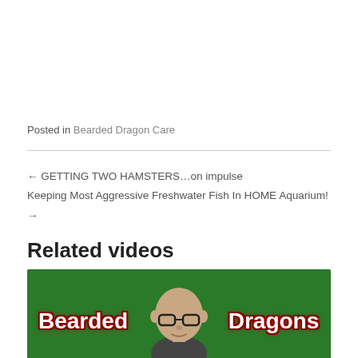Posted in Bearded Dragon Care
← GETTING TWO HAMSTERS…on impulse
Keeping Most Aggressive Freshwater Fish In HOME Aquarium! →
Related videos
[Figure (photo): Video thumbnail with green background showing a bald man with glasses and the text 'Bearded Dragons' split on left and right sides]